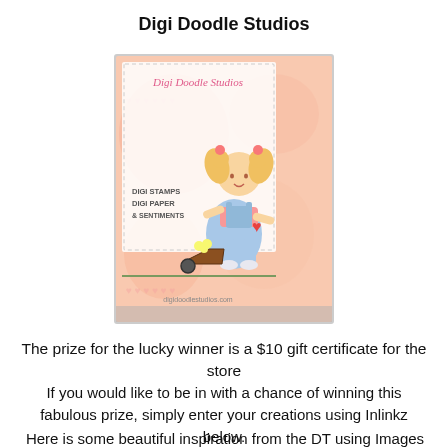Digi Doodle Studios
[Figure (illustration): Digi Doodle Studios promotional image showing a cartoon girl with blonde pigtails and flowers in her hair, wearing blue overalls, holding a wheelbarrow of flowers. Text on image reads: Digi Doodle Studios, DIGI STAMPS, DIGI PAPER, & SENTIMENTS, digidoodlestudios.com. Pink and peach watercolor background with dashed border.]
The prize for the lucky winner is a $10 gift certificate for the store
If you would like to be in with a chance of winning this fabulous prize, simply enter your creations using Inlinkz below.
Here is some beautiful inspiration from the DT using Images